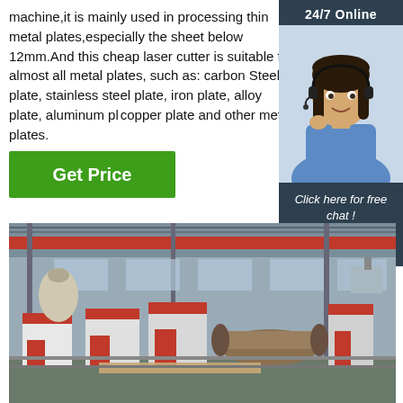machine,it is mainly used in processing thin metal plates,especially the sheet below 12mm.And this cheap laser cutter is suitable for almost all metal plates, such as: carbon Steel plate, stainless steel plate, iron plate, alloy plate, aluminum plate, copper plate and other metal plates.
[Figure (other): Customer service representative with headset, 24/7 Online chat widget with dark background and orange QUOTATION button]
[Figure (photo): Industrial factory floor showing laser cutting machines and manufacturing equipment in a large warehouse]
Get Price
24/7 Online
Click here for free chat !
QUOTATION